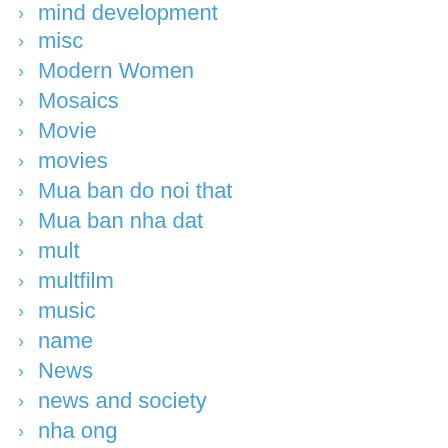mind development
misc
Modern Women
Mosaics
Movie
movies
Mua ban do noi that
Mua ban nha dat
mult
multfilm
music
name
News
news and society
nha ong